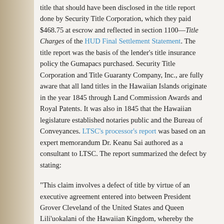title that should have been disclosed in the title report done by Security Title Corporation, which they paid $468.75 at escrow and reflected in section 1100—Title Charges of the HUD Final Settlement Statement. The title report was the basis of the lender's title insurance policy the Gumapacs purchased. Security Title Corporation and Title Guaranty Company, Inc., are fully aware that all land titles in the Hawaiian Islands originate in the year 1845 through Land Commission Awards and Royal Patents. It was also in 1845 that the Hawaiian legislature established notaries public and the Bureau of Conveyances. LTSC's processor's report was based on an expert memorandum Dr. Keanu Sai authored as a consultant to LTSC. The report summarized the defect by stating:
“This claim involves a defect of title by virtue of an executive agreement entered into between President Grover Cleveland of the United States and Queen Lili’uokalani of the Hawaiian Kingdom, whereby the President and his successors in office were and continue to be bound to faithfully execute Hawaiian Kingdom law